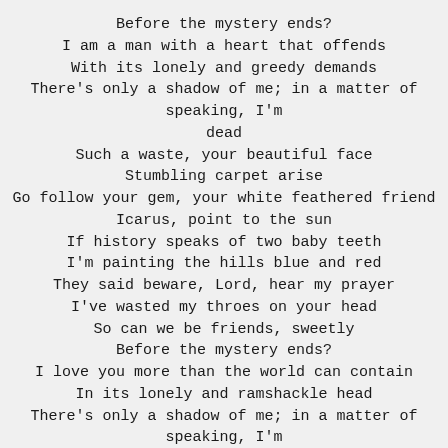Before the mystery ends?
I am a man with a heart that offends
With its lonely and greedy demands
There's only a shadow of me; in a matter of speaking, I'm dead
Such a waste, your beautiful face
Stumbling carpet arise
Go follow your gem, your white feathered friend
Icarus, point to the sun
If history speaks of two baby teeth
I'm painting the hills blue and red
They said beware, Lord, hear my prayer
I've wasted my throes on your head
So can we be friends, sweetly
Before the mystery ends?
I love you more than the world can contain
In its lonely and ramshackle head
There's only a shadow of me; in a matter of speaking, I'm dead